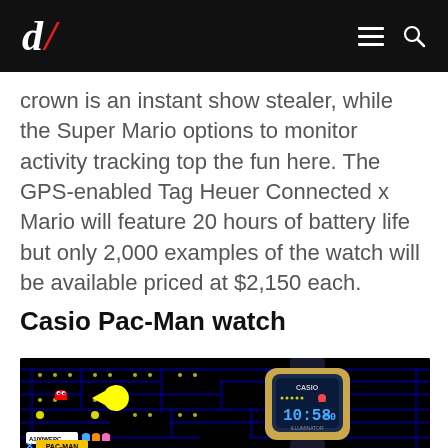d/ [logo] [hamburger menu] [search icon]
crown is an instant show stealer, while the Super Mario options to monitor activity tracking top the fun here. The GPS-enabled Tag Heuer Connected x Mario will feature 20 hours of battery life but only 2,000 examples of the watch will be available priced at $2,150 each.
Casio Pac-Man watch
[Figure (photo): Casio A100WEPC Pac-Man edition watch with gold casing displaying 10:58:50, shown against a Pac-Man game screenshot background. Bottom left shows model badge A100WEPC, ghost icons, blue X, and PAC-MAN logo in yellow.]